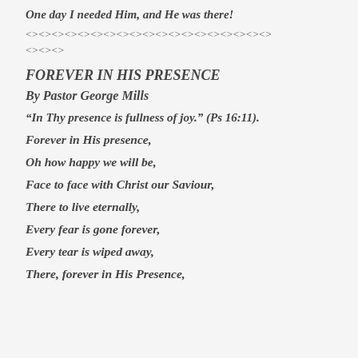One day I needed Him, and He was there!
<><><><><><><><><><><><><><><><><><>
<><>
FOREVER IN HIS PRESENCE
By Pastor George Mills
“In Thy presence is fullness of joy.” (Ps 16:11).
Forever in His presence,
Oh how happy we will be,
Face to face with Christ our Saviour,
There to live eternally,
Every fear is gone forever,
Every tear is wiped away,
There, forever in His Presence,